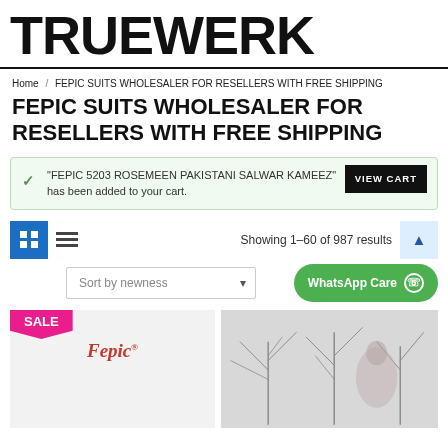TRUEWERK
Home / FEPIC SUITS WHOLESALER FOR RESELLERS WITH FREE SHIPPING
FEPIC SUITS WHOLESALER FOR RESELLERS WITH FREE SHIPPING
"FEPIC 5203 ROSEMEEN PAKISTANI SALWAR KAMEEZ" has been added to your cart. VIEW CART
Showing 1–60 of 987 results
Sort by newness
WhatsApp Care
[Figure (logo): Fepic brand logo in red italic text with registered trademark symbol]
[Figure (photo): Product photo of Pakistani salwar kameez with tree branch print, model wearing the outfit]